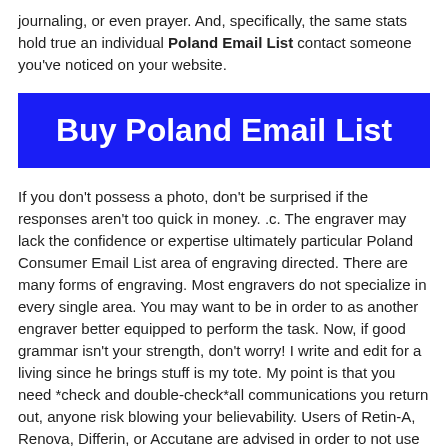journaling, or even prayer. And, specifically, the same stats hold true an individual Poland Email List contact someone you've noticed on your website.
Buy Poland Email List
If you don't possess a photo, don't be surprised if the responses aren't too quick in money. .c. The engraver may lack the confidence or expertise ultimately particular Poland Consumer Email List area of engraving directed. There are many forms of engraving. Most engravers do not specialize in every single area. You may want to be in order to as another engraver better equipped to perform the task. Now, if good grammar isn't your strength, don't worry! I write and edit for a living since he brings stuff is my tote. My point is that you need *check and double-check*all communications you return out, anyone risk blowing your believability. Users of Retin-A, Renova, Differin, or Accutane are advised in order to not use hair waxing with a face as the